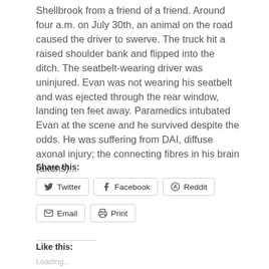Shellbrook from a friend of a friend. Around four a.m. on July 30th, an animal on the road caused the driver to swerve. The truck hit a raised shoulder bank and flipped into the ditch. The seatbelt-wearing driver was uninjured. Evan was not wearing his seatbelt and was ejected through the rear window, landing ten feet away. Paramedics intubated Evan at the scene and he survived despite the odds. He was suffering from DAI, diffuse axonal injury; the connecting fibres in his brain (axons)...
Share this:
Twitter
Facebook
Reddit
Email
Print
Like this:
Loading...